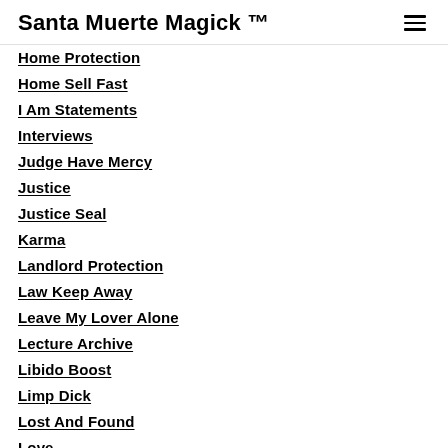Santa Muerte Magick ™
Home Protection
Home Sell Fast
I Am Statements
Interviews
Judge Have Mercy
Justice
Justice Seal
Karma
Landlord Protection
Law Keep Away
Leave My Lover Alone
Lecture Archive
Libido Boost
Limp Dick
Lost And Found
Love
Love Me As I Am